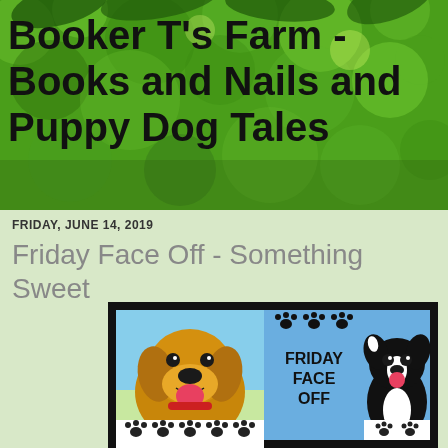[Figure (photo): Green bokeh nature background with leaves]
Booker T's Farm - Books and Nails and Puppy Dog Tales
A blog about all the loves of my life.
FRIDAY, JUNE 14, 2019
Friday Face Off - Something Sweet
[Figure (illustration): Friday Face Off graphic showing a golden retriever on the left, a black and white border collie puppy on the right, blue background in center with text FRIDAY FACE OFF, and paw print decorations]